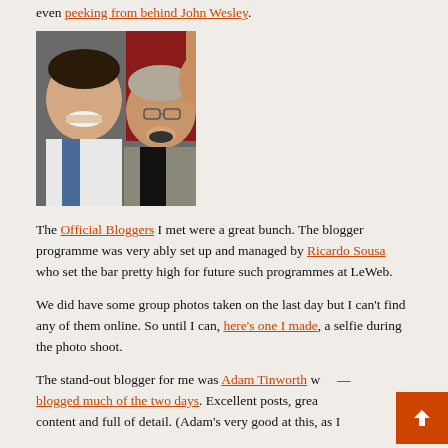even peeking from behind John Wesley.
[Figure (photo): Selfie photo of two men taken during a photo shoot — a younger man in a white shirt on the left and an older man in a grey jacket on the right, both smiling with open mouths, taken close up with a red background visible.]
The Official Bloggers I met were a great bunch. The blogger programme was very ably set up and managed by Ricardo Sousa who set the bar pretty high for future such programmes at LeWeb.
We did have some group photos taken on the last day but I can't find any of them online. So until I can, here's one I made, a selfie during the photo shoot.
The stand-out blogger for me was Adam Tinworth who blogged much of the two days. Excellent posts, great content and full of detail. (Adam's very good at this, as I